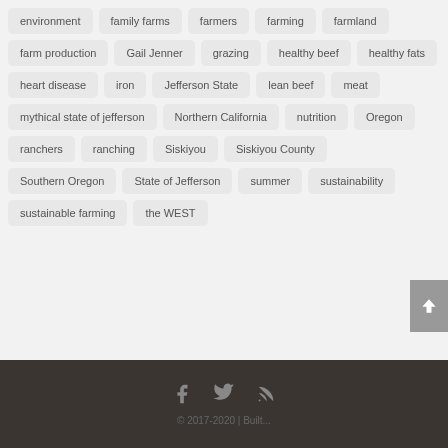environment
family farms
farmers
farming
farmland
farm production
Gail Jenner
grazing
healthy beef
healthy fats
heart disease
iron
Jefferson State
lean beef
meat
mythical state of jefferson
Northern California
nutrition
Oregon
ranchers
ranching
Siskiyou
Siskiyou County
Southern Oregon
State of Jefferson
summer
sustainability
sustainable farming
the WEST
© 2017-2020 | Built...